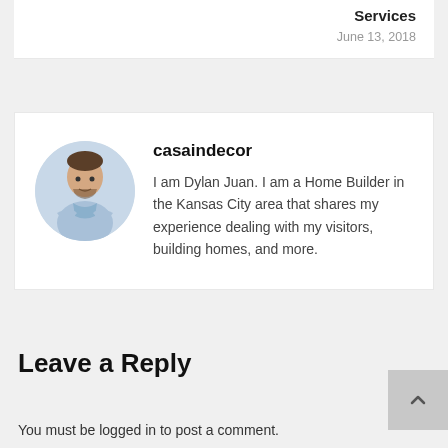Services
June 13, 2018
[Figure (photo): Circular profile photo of a man with crossed arms wearing a light blue shirt]
casaindecor
I am Dylan Juan. I am a Home Builder in the Kansas City area that shares my experience dealing with my visitors, building homes, and more.
Leave a Reply
You must be logged in to post a comment.